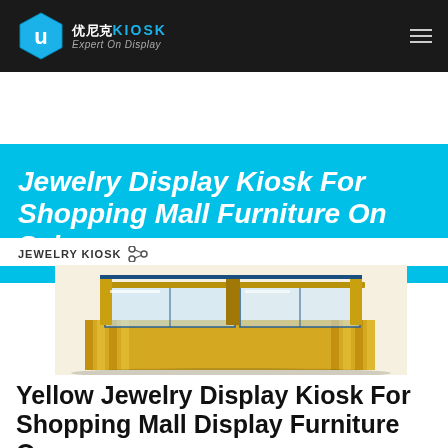优尼克KIOSK Expert On Display
Jewelry Display Kiosk For Shopping Mall Furniture On Sale
JEWELRY KIOSK
[Figure (illustration): 3D rendering of a yellow jewelry display kiosk for shopping mall, showing glass display cases with wooden frame structure]
Yellow Jewelry Display Kiosk For Shopping Mall Display Furniture On